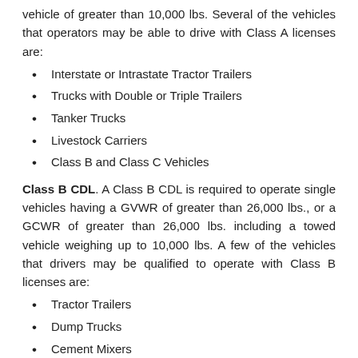vehicle of greater than 10,000 lbs. Several of the vehicles that operators may be able to drive with Class A licenses are:
Interstate or Intrastate Tractor Trailers
Trucks with Double or Triple Trailers
Tanker Trucks
Livestock Carriers
Class B and Class C Vehicles
Class B CDL. A Class B CDL is required to operate single vehicles having a GVWR of greater than 26,000 lbs., or a GCWR of greater than 26,000 lbs. including a towed vehicle weighing up to 10,000 lbs. A few of the vehicles that drivers may be qualified to operate with Class B licenses are:
Tractor Trailers
Dump Trucks
Cement Mixers
Large Buses